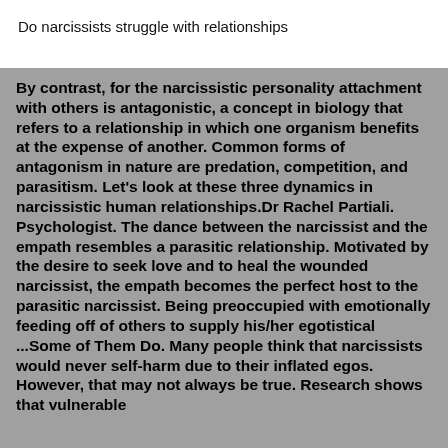Do narcissists struggle with relationships
By contrast, for the narcissistic personality attachment with others is antagonistic, a concept in biology that refers to a relationship in which one organism benefits at the expense of another. Common forms of antagonism in nature are predation, competition, and parasitism. Let's look at these three dynamics in narcissistic human relationships.Dr Rachel Partiali. Psychologist. The dance between the narcissist and the empath resembles a parasitic relationship. Motivated by the desire to seek love and to heal the wounded narcissist, the empath becomes the perfect host to the parasitic narcissist. Being preoccupied with emotionally feeding off of others to supply his/her egotistical ...Some of Them Do. Many people think that narcissists would never self-harm due to their inflated egos. However, that may not always be true. Research shows that vulnerable